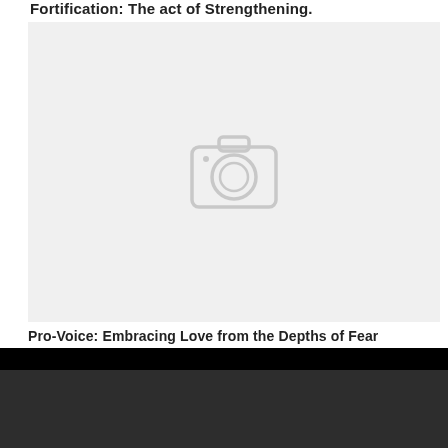Fortification: The act of Strengthening.
[Figure (photo): Image placeholder with camera icon on light grey background]
Pro-Voice: Embracing Love from the Depths of Fear
Footer with up arrow and social media icons (Facebook, Instagram)